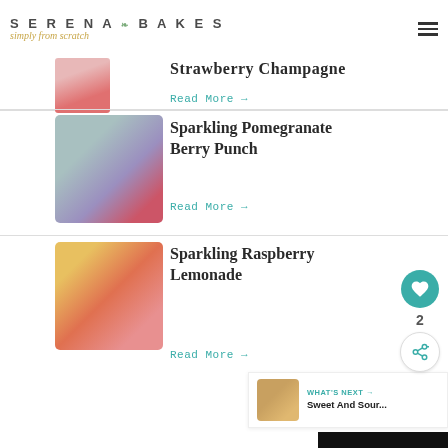Serena Bakes Simply From Scratch
Strawberry Champagne
Read More →
Sparkling Pomegranate Berry Punch
Read More →
Sparkling Raspberry Lemonade
Read More →
WHAT'S NEXT → Sweet And Sour...